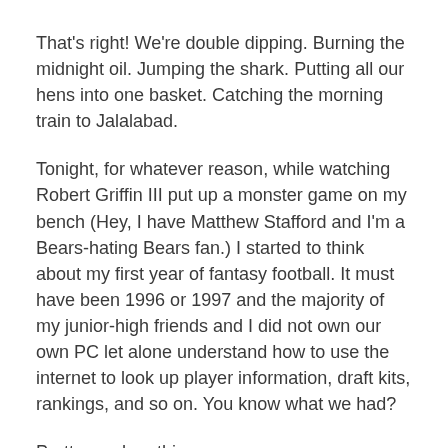That's right! We're double dipping. Burning the midnight oil. Jumping the shark. Putting all our hens into one basket. Catching the morning train to Jalalabad.
Tonight, for whatever reason, while watching Robert Griffin III put up a monster game on my bench (Hey, I have Matthew Stafford and I'm a Bears-hating Bears fan.) I started to think about my first year of fantasy football. It must have been 1996 or 1997 and the majority of my junior-high friends and I did not own our own PC let alone understand how to use the internet to look up player information, draft kits, rankings, and so on. You know what we had?
Pretty much nothing.
I remember my first-ever draft prep consisted of going